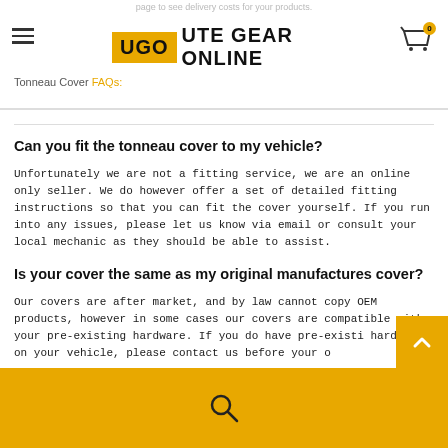UGO UTE GEAR ONLINE
page to see delivery costs for your products.
Tonneau Cover FAQs:
Can you fit the tonneau cover to my vehicle?
Unfortunately we are not a fitting service, we are an online only seller. We do however offer a set of detailed fitting instructions so that you can fit the cover yourself. If you run into any issues, please let us know via email or consult your local mechanic as they should be able to assist.
Is your cover the same as my original manufactures cover?
Our covers are after market, and by law cannot copy OEM products, however in some cases our covers are compatible with your pre-existing hardware. If you do have pre-existing hardware on your vehicle, please contact us before your o